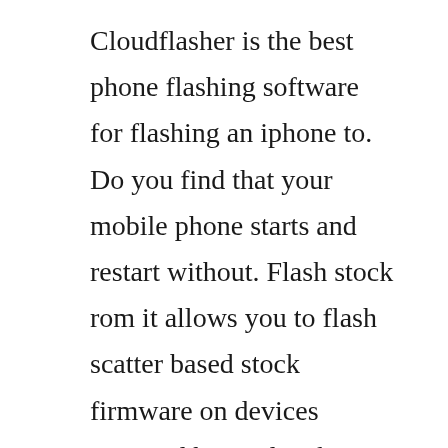Cloudflasher is the best phone flashing software for flashing an iphone to. Do you find that your mobile phone starts and restart without. Flash stock rom it allows you to flash scatter based stock firmware on devices powered by mediatek chipset. Download smart phone flash tool sp flash tool a reliable utility that is designed to assist android phone users in flashing their handheld device and installing custom roms on it. Universal android flasher allinone tool full setup download. The software is compatible with all modern windows versions and it. Flash cell